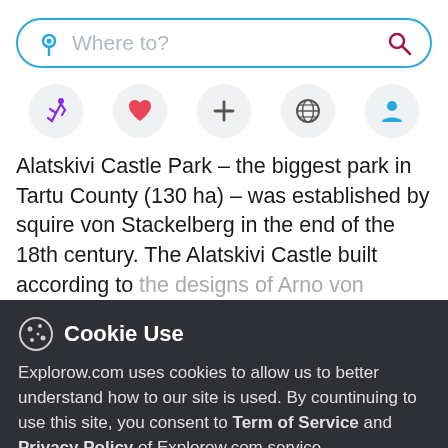[Figure (screenshot): Search bar with location pin icon and magnifying glass search icon, placeholder text 'Where to?']
[Figure (infographic): Row of five icon buttons: running person (purple), heart (red/pink), plus (+), globe, person silhouette (blue)]
Alatskivi Castle Park – the biggest park in Tartu County (130 ha) – was established by squire von Stackelberg in the end of the 18th century. The Alatskivi Castle built according to the designs of Arno von Nolcken with the
Cookie Use
Explorow.com uses cookies to allow us to better understand how to our site is used. By countinuing to use this site, you consent to Term of Service and Privacy Policy of Explorow.com service.